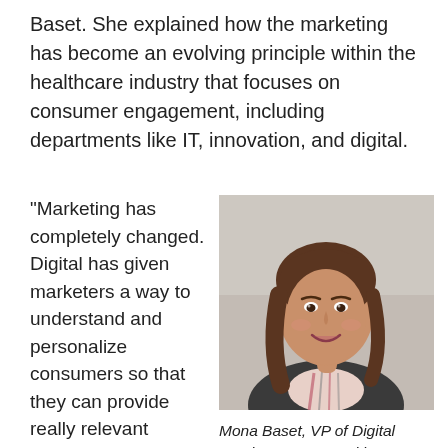Baset. She explained how the marketing has become an evolving principle within the healthcare industry that focuses on consumer engagement, including departments like IT, innovation, and digital.
“Marketing has completely changed. Digital has given marketers a way to understand and personalize consumers so that they can provide really relevant experiences. The consumer has gotten a lot more control, which is
[Figure (photo): Professional headshot of Mona Baset, a woman with medium-length brown hair, wearing a blazer over a striped top, smiling, in an office/indoor background.]
Mona Baset, VP of Digital Servies at SCL Health